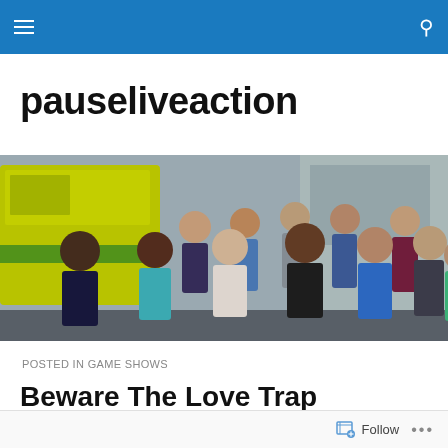pauseliveaction navigation bar
pauseliveaction
[Figure (photo): Group cast photo of medical TV show cast members standing outside a hospital near an ambulance. Multiple people in various medical scrubs and professional attire.]
POSTED IN GAME SHOWS
Beware The Love Trap
by Maggie Gordon-Walker
Follow